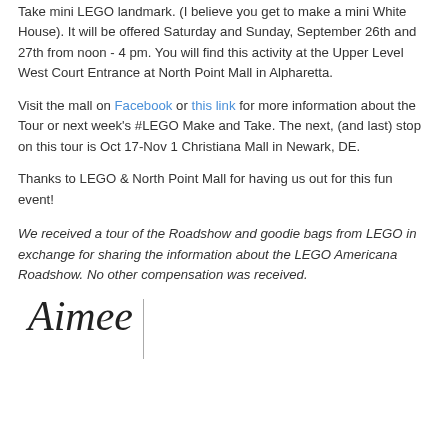Take mini LEGO landmark. (I believe you get to make a mini White House).  It will be offered Saturday and Sunday, September 26th and 27th from noon - 4 pm.  You will find this activity at the Upper Level West Court Entrance at North Point Mall in Alpharetta.
Visit the mall on Facebook or this link for more information about the Tour or next week's #LEGO Make and Take.  The next, (and last) stop on this tour is Oct 17-Nov 1 Christiana Mall in Newark, DE.
Thanks to LEGO & North Point Mall for having us out for this fun event!
We received a tour of the Roadshow and goodie bags from LEGO in exchange for sharing the information about the LEGO Americana Roadshow.  No other compensation was received.
[Figure (illustration): Handwritten cursive signature reading 'Aimee' with a vertical line separator to the right]